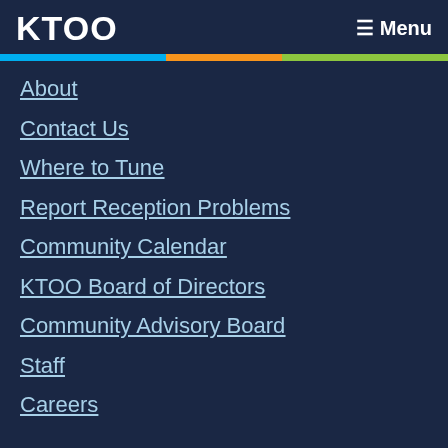KTOO    ≡ Menu
About
Contact Us
Where to Tune
Report Reception Problems
Community Calendar
KTOO Board of Directors
Community Advisory Board
Staff
Careers
Social media
Facebook